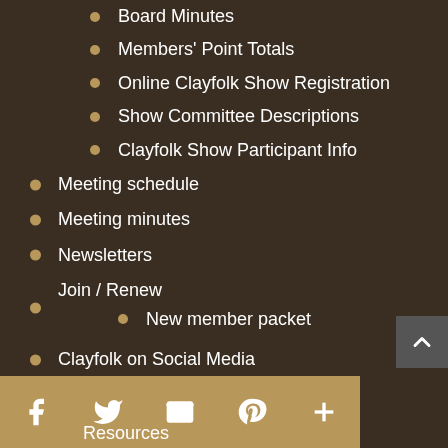Board Minutes
Members' Point Totals
Online Clayfolk Show Registration
Show Committee Descriptions
Clayfolk Show Participant Info
Meeting schedule
Meeting minutes
Newsletters
Join / Renew
New member packet
Clayfolk on Social Media
Honorariums
Points system
Resources